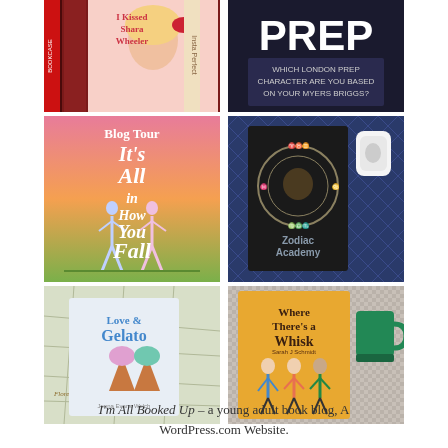[Figure (photo): Photo of book spines and covers including 'I Kissed Shara Wheeler' and other YA books]
[Figure (photo): PREP book cover or quiz graphic - Which London Prep character are you based on your Myers Briggs?]
[Figure (photo): Blog Tour graphic for 'It's All in How You Fall' showing two people doing gymnastics]
[Figure (photo): Zodiac Academy book cover lying on blue fabric next to AirPods case]
[Figure (photo): Love & Gelato book cover on a map background showing Florence]
[Figure (photo): Where There's a Whisk book cover with characters standing together, next to a mug]
I'm All Booked Up – a young adult book blog, A WordPress.com Website.